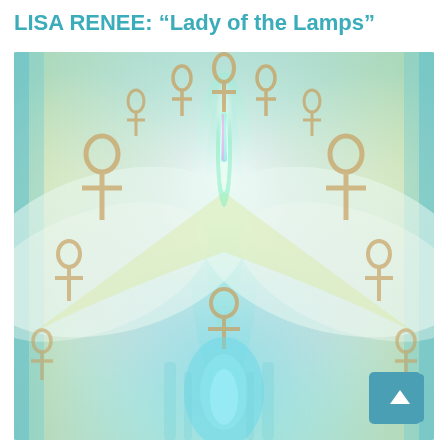LISA RENEE: "Lady of the Lamps"
[Figure (illustration): Spiritual/mystical illustration featuring a central luminous figure surrounded by multiple ankh symbols arranged in an arc at the top. The background has soft pastel gradients of teal, green, yellow, and lavender. The central figure radiates white-gold light with wing-like extensions. A large ankh appears in the center-bottom area. The color palette is ethereal with blues, greens, pinks and golds blending together. A teal scroll-to-top button with an upward arrow is overlaid at the bottom right.]